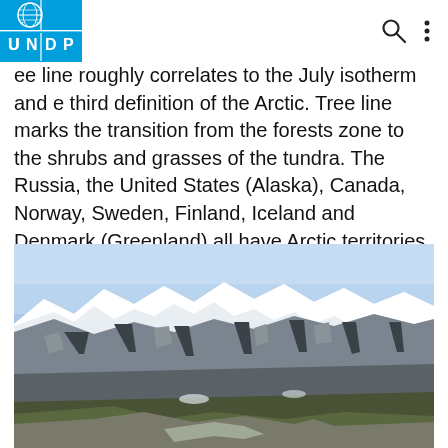UNDP [logo] | Search | Menu
ee line roughly correlates to the July isotherm and e third definition of the Arctic. Tree line marks the transition from the forests zone to the shrubs and grasses of the tundra. The Russia, the United States (Alaska), Canada, Norway, Sweden, Finland, Iceland and Denmark (Greenland) all have Arctic territories.
[Figure (photo): Aerial photograph of Arctic mountain range with snow-covered peaks, rocky terrain, and a valley floor with sparse tundra vegetation in the foreground.]